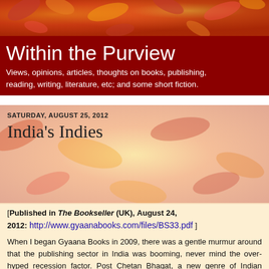[Figure (photo): Autumn/fall leaves background photo in orange, red, and yellow tones]
Within the Purview
Views, opinions, articles, thoughts on books, publishing, reading, writing, literature, etc; and some short fiction.
[Figure (photo): Autumn leaves background visible behind content area]
SATURDAY, AUGUST 25, 2012
India's Indies
[Published in The Bookseller (UK), August 24, 2012: http://www.gyaanabooks.com/files/BS33.pdf ]
When I began Gyaana Books in 2009, there was a gentle murmur around that the publishing sector in India was booming, never mind the over-hyped recession factor. Post Chetan Bhagat, a new genre of Indian commercial fiction had emerged. Indian presses were working without a breather, producing romances, crime fiction, chick lit, and the campus novel. Small independent publishers, mushrooming in every nook and